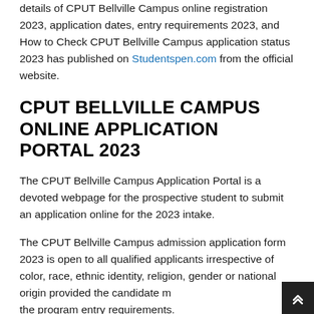details of CPUT Bellville Campus online registration 2023, application dates, entry requirements 2023, and How to Check CPUT Bellville Campus application status 2023 has published on Studentspen.com from the official website.
CPUT BELLVILLE CAMPUS ONLINE APPLICATION PORTAL 2023
The CPUT Bellville Campus Application Portal is a devoted webpage for the prospective student to submit an application online for the 2023 intake.
The CPUT Bellville Campus admission application form 2023 is open to all qualified applicants irrespective of color, race, ethnic identity, religion, gender or national origin provided the candidate meets the program entry requirements.